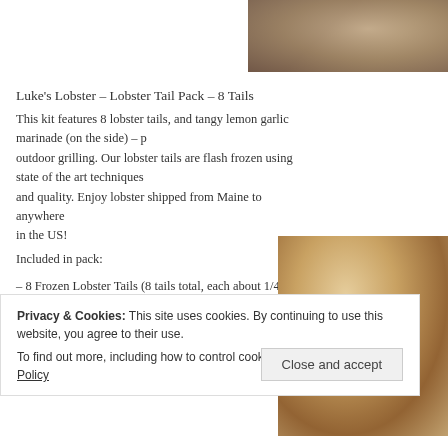[Figure (photo): Partial photo of food item at top right of page]
Luke's Lobster – Lobster Tail Pack – 8 Tails
This kit features 8 lobster tails, and tangy lemon garlic marinade (on the side) – p outdoor grilling. Our lobster tails are flash frozen using state of the art techniques and quality. Enjoy lobster shipped from Maine to anywhere in the US!
Included in pack:
[Figure (photo): Photo of lobster rolls on a tray]
– 8 Frozen Lobster Tails (8 tails total, each about 1/4 lb)
– Lemon Garlic Marinade Packets
Privacy & Cookies: This site uses cookies. By continuing to use this website, you agree to their use.
To find out more, including how to control cookies, see here: Cookie Policy
Close and accept